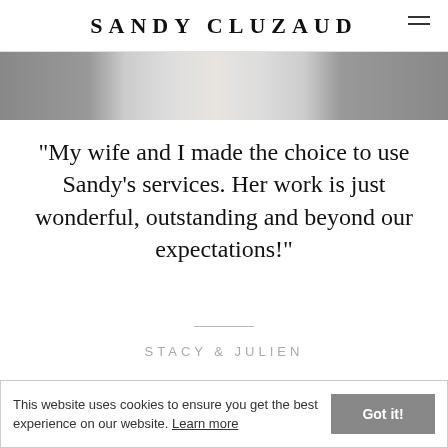SANDY CLUZAUD
[Figure (photo): Horizontal photo strip showing wedding/portrait photography images, partially visible]
“My wife and I made the choice to use Sandy’s services. Her work is just wonderful, outstanding and beyond our expectations!”
STACY & JULIEN
This website uses cookies to ensure you get the best experience on our website. Learn more